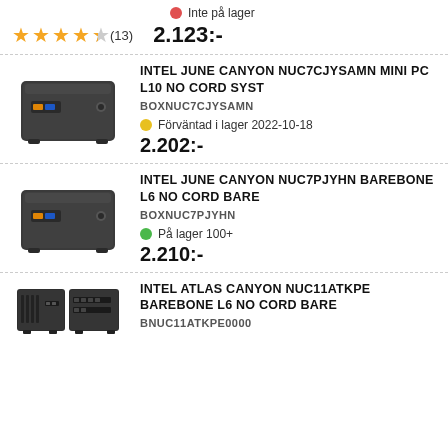Inte på lager
★★★★½ (13)  2.123:-
INTEL JUNE CANYON NUC7CJYSAMN MINI PC L10 NO CORD SYST
BOXNUC7CJYSAMN
Förväntad i lager 2022-10-18
2.202:-
[Figure (photo): Intel NUC mini PC front view, dark grey box]
INTEL JUNE CANYON NUC7PJYHN BAREBONE L6 NO CORD BARE
BOXNUC7PJYHN
På lager 100+
2.210:-
[Figure (photo): Intel NUC mini PC front view, dark grey box]
INTEL ATLAS CANYON NUC11ATKPE BAREBONE L6 NO CORD BARE
BNUC11ATKPE0000
[Figure (photo): Intel Atlas Canyon NUC mini PC, wider flat form factor]